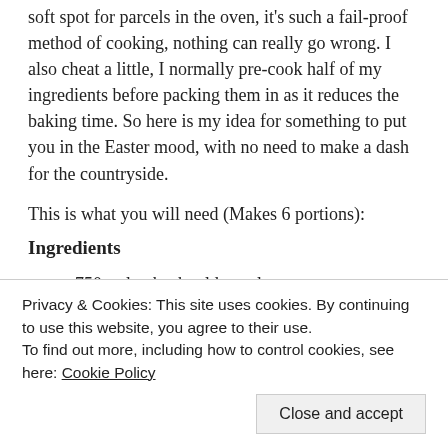soft spot for parcels in the oven, it's such a fail-proof method of cooking, nothing can really go wrong. I also cheat a little, I normally pre-cook half of my ingredients before packing them in as it reduces the baking time. So here is my idea for something to put you in the Easter mood, with no need to make a dash for the countryside.
This is what you will need (Makes 6 portions):
Ingredients
750 gr lamb, shoulder or leg
200 gr frozen peas
1 carrot
1 potato
Privacy & Cookies: This site uses cookies. By continuing to use this website, you agree to their use.
To find out more, including how to control cookies, see here: Cookie Policy